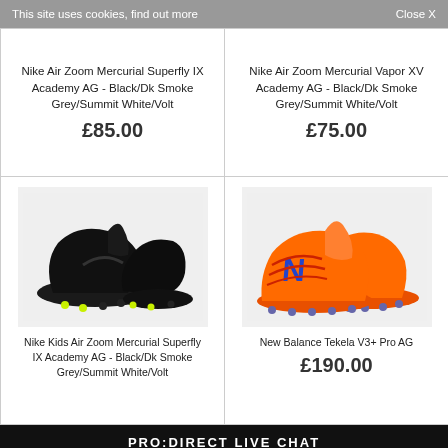This site uses cookies, find out more    Close X
Nike Air Zoom Mercurial Superfly IX Academy AG - Black/Dk Smoke Grey/Summit White/Volt
£85.00
Nike Air Zoom Mercurial Vapor XV Academy AG - Black/Dk Smoke Grey/Summit White/Volt
£75.00
[Figure (photo): Black Nike Air Zoom Mercurial Superfly IX Academy AG football boots on white/grey background]
Nike Kids Air Zoom Mercurial Superfly IX Academy AG - Black/Dk Smoke Grey/Summit White/Volt
[Figure (photo): Orange and blue New Balance Tekela V3+ Pro AG football boots on white background]
New Balance Tekela V3+ Pro AG
£190.00
PRO:DIRECT LIVE CHAT